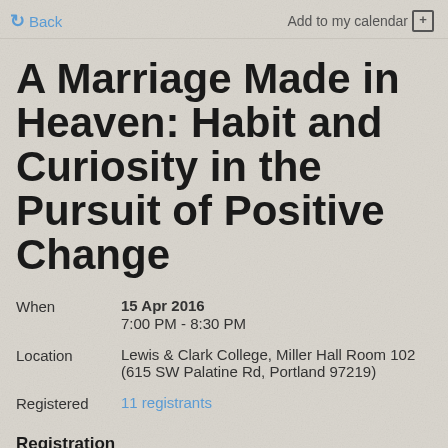Back | Add to my calendar
A Marriage Made in Heaven: Habit and Curiosity in the Pursuit of Positive Change
When: 15 Apr 2016, 7:00 PM - 8:30 PM
Location: Lewis & Clark College, Miller Hall Room 102 (615 SW Palatine Rd, Portland 97219)
Registered: 11 registrants
Registration